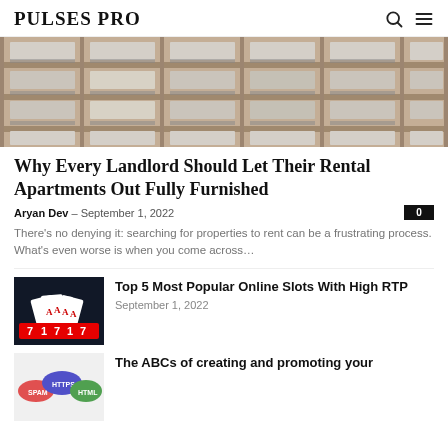PULSES PRO
[Figure (photo): Exterior facade of apartment building with balconies and glass railings, multiple floors visible]
Why Every Landlord Should Let Their Rental Apartments Out Fully Furnished
Aryan Dev — September 1, 2022
There's no denying it: searching for properties to rent can be a frustrating process. What's even worse is when you come across…
[Figure (photo): Playing cards (aces) and casino chips/slots on dark background]
Top 5 Most Popular Online Slots With High RTP
September 1, 2022
[Figure (photo): Colorful speech bubbles or website elements on light background]
The ABCs of creating and promoting your